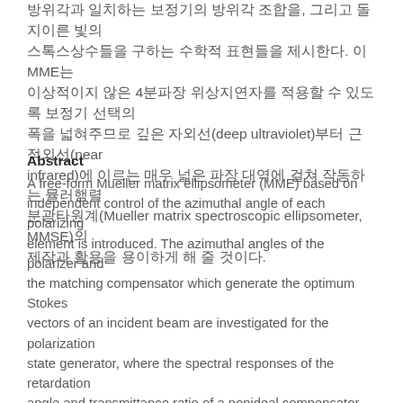방위각과 일치하는 보정기의 방위각 조합을, 그리고 돌지이른 빛의 스톡스상수들을 구하는 수학적 표현들을 제시한다. 이 MME는 이상적이지 않은 4분파장 위상지연자를 적용할 수 있도록 보정기 선택의 폭을 넓혀주므로 깊은 자외선(deep ultraviolet)부터 근적외선(near infrared)에 이르는 매우 넓은 파장 대역에 걸쳐 작동하는 뮬러행렬 분광타원계(Mueller matrix spectroscopic ellipsometer, MMSE)의 제작과 활용을 용이하게 해 줄 것이다.
Abstract
A free-form Mueller matrix ellipsometer (MME) based on independent control of the azimuthal angle of each polarizing element is introduced. The azimuthal angles of the polarizer and the matching compensator which generate the optimum Stokes vectors of an incident beam are investigated for the polarization state generator, where the spectral responses of the retardation angle and transmittance ratio of a nonideal compensator are taken into account. Similarly, the azimuthal angles of the analyzer and the corresponding compensator are investigated for the polarization-state detector, to unambiguously determine the Stokes vector of the outcoming beam from the sample, and explicit expressions for the Stokes elements are derived. Since the suggested technique enables one to utilize a nonideal quarter-